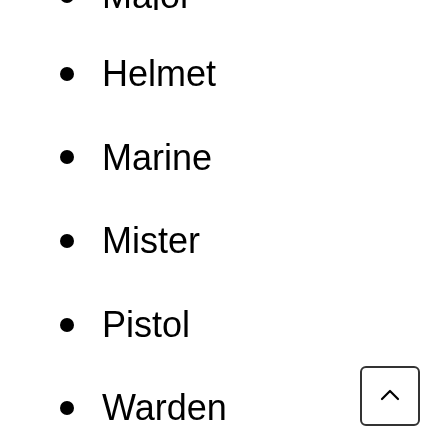Major
Helmet
Marine
Mister
Pistol
Warden
Watcher